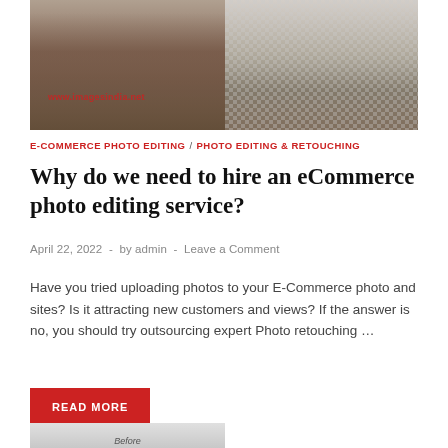[Figure (photo): Two side-by-side photos: left shows legs of people standing at an event on a wooden floor with a red watermark 'www.imagesindia.net'; right shows a cut-out version of the same image on a transparent/checkered background.]
E-COMMERCE PHOTO EDITING / PHOTO EDITING & RETOUCHING
Why do we need to hire an eCommerce photo editing service?
April 22, 2022  -  by admin  -  Leave a Comment
Have you tried uploading photos to your E-Commerce photo and sites? Is it attracting new customers and views? If the answer is no, you should try outsourcing expert Photo retouching …
READ MORE
[Figure (photo): Partial view of a before/after photo editing comparison image at the bottom of the page.]